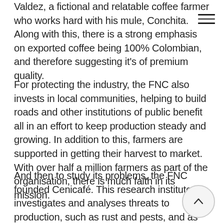Valdez, a fictional and relatable coffee farmer who works hard with his mule, Conchita. Along with this, there is a strong emphasis on exported coffee being 100% Colombian, and therefore suggesting it's of premium quality.
For protecting the industry, the FNC also invests in local communities, helping to build roads and other institutions of public benefit all in an effort to keep production steady and growing. In addition to this, farmers are supported in getting their harvest to market. With over half a million farmers as part of the organisation, there is much faith in its mission.
And then to study its problems, the FNC founded Cenicafé. This research institute investigates and analyses threats to production, such as rust and pests, and as part of the solution creates new varieties to tackle these problems. There is much more to FNC's story...